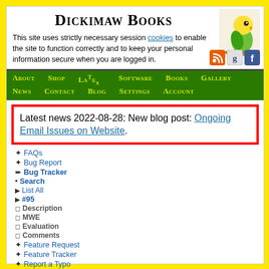Dickimaw Books
[Figure (illustration): Parrot/parakeet mascot illustration on a perch]
This site uses strictly necessary session cookies to enable the site to function correctly and to keep your personal information secure when you are logged in.
[Figure (infographic): Social media icons: RSS feed (orange), Google (g), Facebook (f)]
About  Shop  LaTeX  Software  Books  Gallery  News  Contact  Blog  Settings  Account
Latest news 2022-08-28: New blog post: Ongoing Email Issues on Website.
FAQs
Bug Report
Bug Tracker
Search
List All
#95
Description
MWE
Evaluation
Comments
Feature Request
Feature Tracker
Report a Typo
Typo Tracker
Notification Manager